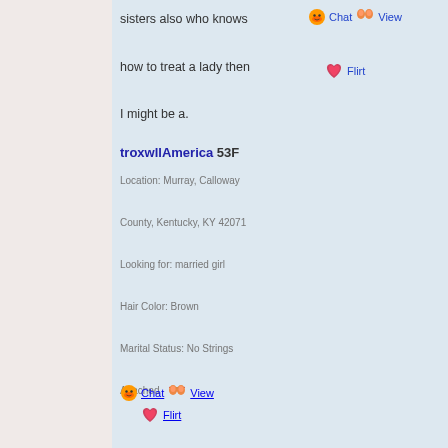sisters also who knows how to treat a lady then I might be a.
troxwllAmerica 53F
Location: Murray, Calloway County, Kentucky, KY 42071
Looking for: married girl
Hair Color: Brown
Marital Status: No Strings Attached